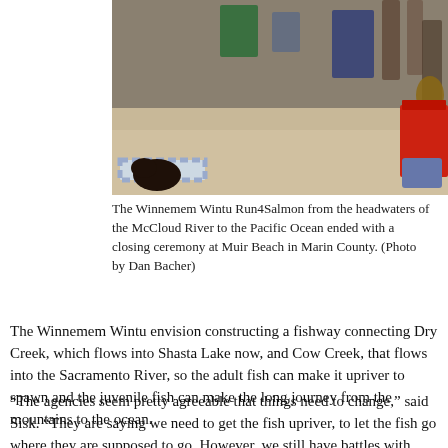[Figure (photo): People sitting on a sandy beach with folding chairs, a dog, and a blanket visible. Red, blue, and green chairs are present. A gray case is on the sand. Beach gathering scene.]
The Winnemem Wintu Run4Salmon from the headwaters of the McCloud River to the Pacific Ocean ended with a closing ceremony at Muir Beach in Marin County. (Photo by Dan Bacher)
The Winnemem Wintu envision constructing a fishway connecting Dry Creek, which flows into Shasta Lake now, and Cow Creek, that flows into the Sacramento River, so the adult fish can make it upriver to spawn and the juvenile fish can make the long journey from the mountains to the ocean.
“The agencies seem pretty agreeable that things need to change,” said Sisk. “They are saying we need to get the fish upriver, to let the fish go where they are supposed to go. However, we still have battles with what’s going to happen with the raising of Shasta Dam (the Trump biological opinion is still in force); the Bollibokka land